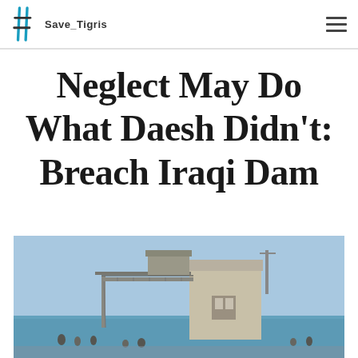Save_Tigris
Neglect May Do What Daesh Didn’t: Breach Iraqi Dam
[Figure (photo): Photograph of a dam structure with concrete tower and metal railing/gantry against a blue sky and blue water, with people visible at the base]